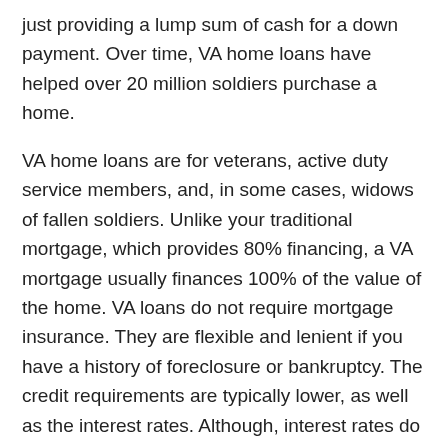just providing a lump sum of cash for a down payment. Over time, VA home loans have helped over 20 million soldiers purchase a home.
VA home loans are for veterans, active duty service members, and, in some cases, widows of fallen soldiers. Unlike your traditional mortgage, which provides 80% financing, a VA mortgage usually finances 100% of the value of the home. VA loans do not require mortgage insurance. They are flexible and lenient if you have a history of foreclosure or bankruptcy. The credit requirements are typically lower, as well as the interest rates. Although, interest rates do depend on different factors such as your finances, lender, and more.
Like other loans, you must apply to see if you meet specific requirements that make you eligible for a loan. According to the Veteran Loan Center, service members could be eligible